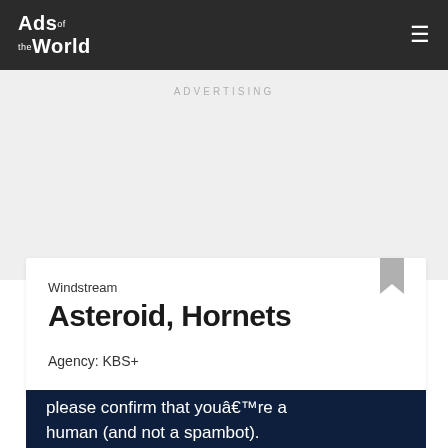Ads of the World
ADVERTISING
Windstream
Asteroid, Hornets
Agency: KBS+
please confirm that youâ€™re a human (and not a spambot).